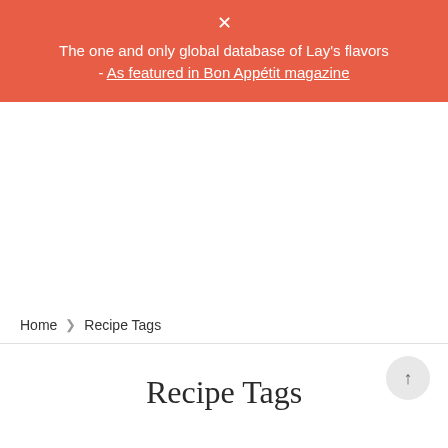The one and only global database of Lay's flavors - As featured in Bon Appétit magazine
Home > Recipe Tags
Recipe Tags